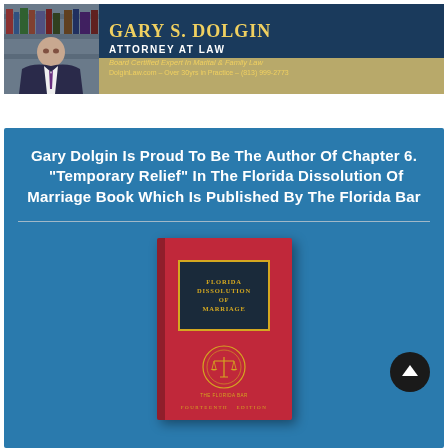[Figure (photo): Banner header for Gary S. Dolgin, Attorney at Law. Navy blue and tan/gold background. Left side shows photo of attorney. Right side shows name 'GARY S. DOLGIN', title 'ATTORNEY AT LAW', 'Board Certified Expert In Marital & Family Law', and contact 'DolginLaw.com - Over 30yrs in Practice - (813) 999-2773'.]
Gary Dolgin Is Proud To Be The Author Of Chapter 6. “Temporary Relief” In The Florida Dissolution Of Marriage Book Which Is Published By The Florida Bar
[Figure (photo): Red book cover titled 'FLORIDA DISSOLUTION OF MARRIAGE' with gold lettering on dark badge, Florida Bar seal emblem, and 'FOURTEENTH EDITION' text at bottom.]